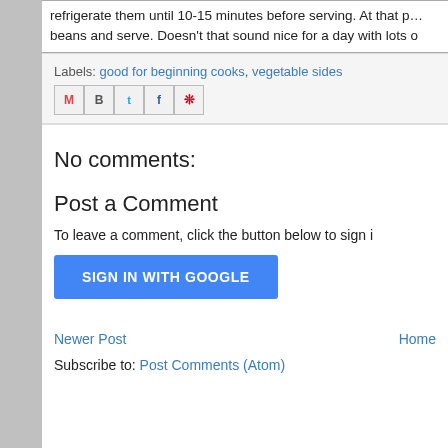refrigerate them until 10-15 minutes before serving. At that point drain the beans and serve. Doesn't that sound nice for a day with lots o
Labels: good for beginning cooks, vegetable sides
[Figure (other): Share icons: Gmail, Blogger, Twitter, Facebook, Pinterest]
No comments:
Post a Comment
To leave a comment, click the button below to sign i
[Figure (other): Blue button labeled SIGN IN WITH GOOGLE]
Newer Post    Home
Subscribe to: Post Comments (Atom)